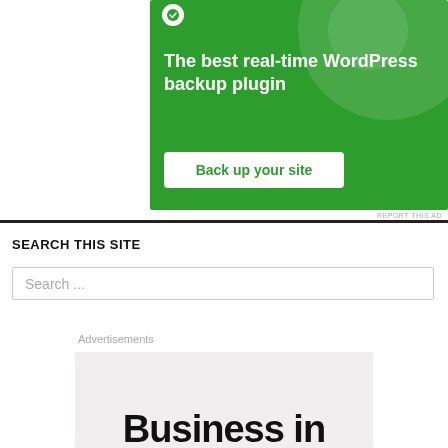[Figure (screenshot): Green advertisement banner for a WordPress backup plugin with text 'The best real-time WordPress backup plugin' and a 'Back up your site' button]
REPORT THIS AD
SEARCH THIS SITE
Search ...
Advertisements
[Figure (screenshot): Gray advertisement placeholder with large text 'Business in' visible at the bottom]